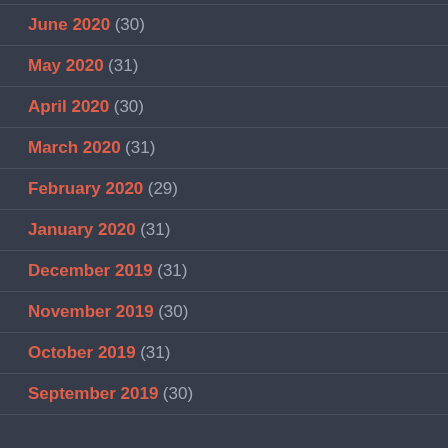June 2020 (30)
May 2020 (31)
April 2020 (30)
March 2020 (31)
February 2020 (29)
January 2020 (31)
December 2019 (31)
November 2019 (30)
October 2019 (31)
September 2019 (30)